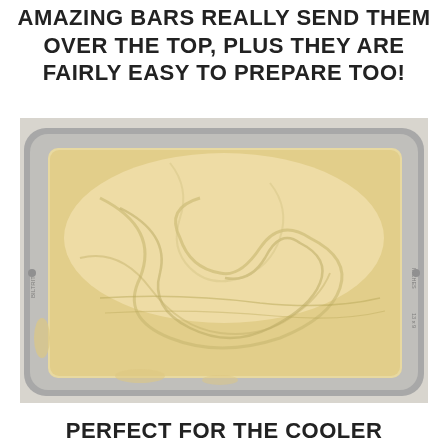AMAZING BARS REALLY SEND THEM OVER THE TOP, PLUS THEY ARE FAIRLY EASY TO PREPARE TOO!
[Figure (photo): Top-down view of a 13x9 inch metal baking pan filled with spread pale yellow/cream colored batter or dough, on a light gray surface.]
PERFECT FOR THE COOLER